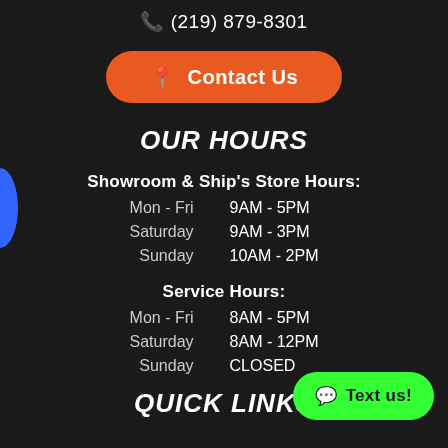📞 (219) 879-8301
📍 Contact Us
OUR HOURS
Showroom & Ship's Store Hours:
| Day | Hours |
| --- | --- |
| Mon - Fri | 9AM - 5PM |
| Saturday | 9AM - 3PM |
| Sunday | 10AM - 2PM |
Service Hours:
| Day | Hours |
| --- | --- |
| Mon - Fri | 8AM - 5PM |
| Saturday | 8AM - 12PM |
| Sunday | CLOSED |
QUICK LINKS